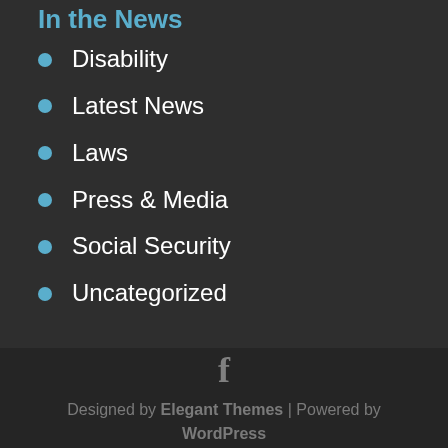In the News
Disability
Latest News
Laws
Press & Media
Social Security
Uncategorized
[Figure (logo): Facebook icon (letter f in gray)]
Designed by Elegant Themes | Powered by WordPress